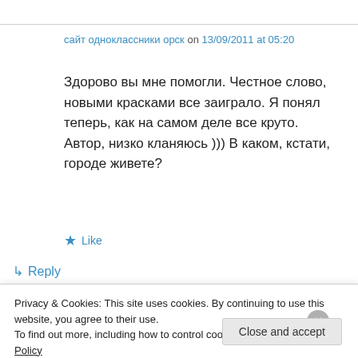сайт одноклассники орск on 13/09/2011 at 05:20
Здорово вы мне помогли. Честное слово, новыми красками все заиграло. Я понял теперь, как на самом деле все круто. Автор, низко кланяюсь ))) В каком, кстати, городе живете?
★ Like
↳ Reply
Privacy & Cookies: This site uses cookies. By continuing to use this website, you agree to their use.
To find out more, including how to control cookies, see here: Cookie Policy
Close and accept